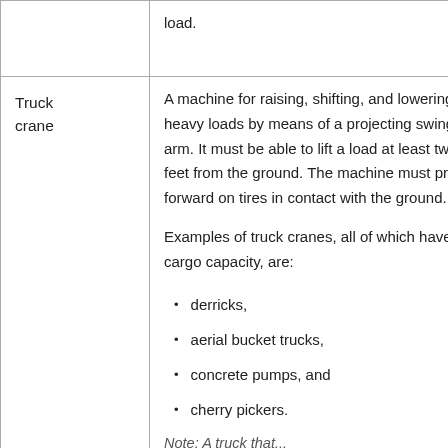load.
Truck crane
A machine for raising, shifting, and lowering heavy loads by means of a projecting swinging arm. It must be able to lift a load at least twenty feet from the ground. The machine must proceed forward on tires in contact with the ground.

Examples of truck cranes, all of which have no cargo capacity, are:
derricks,
aerial bucket trucks,
concrete pumps, and
cherry pickers.
Note: A truck that...